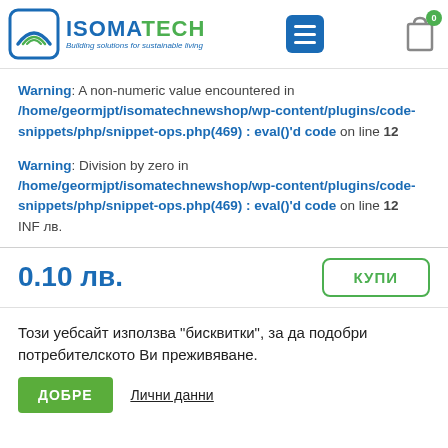ISOMATECH - Building solutions for sustainable living
Warning: A non-numeric value encountered in /home/geormjpt/isomatechnewshop/wp-content/plugins/code-snippets/php/snippet-ops.php(469) : eval()'d code on line 12
Warning: Division by zero in /home/geormjpt/isomatechnewshop/wp-content/plugins/code-snippets/php/snippet-ops.php(469) : eval()'d code on line 12
INF лв.
0.10 лв.
КУПИ
Този уебсайт използва "бисквитки", за да подобри потребителското Ви преживяване.
ДОБРЕ
Лични данни